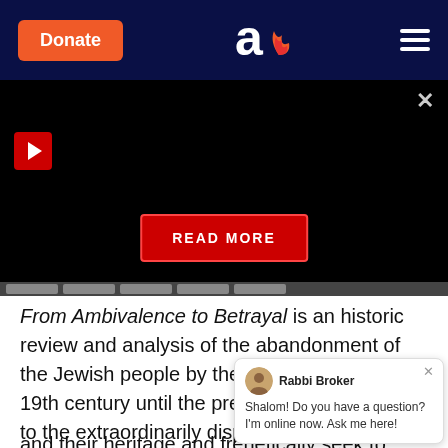[Figure (screenshot): Website header with dark navy background. Orange 'Donate' button on left, 'Aish' logo in center (letter 'a' with flame), hamburger menu on right.]
[Figure (screenshot): Black video player area with red play button in top-left, X close button top-right, and red 'READ MORE' button centered near bottom. Filmstrip thumbnails visible at bottom.]
From Ambivalence to Betrayal is an historic review and analysis of the abandonment of the Jewish people by the left from the early 19th century until the present. It also relates to the extraordinarily disproportionate number of socialist thinkers and leaders who were of Jewish origin and seeks to explain what motivated so many of them, in the course of their efforts to 'repair the world', to aban... and their heritage and frenetically seek to deny their
[Figure (screenshot): Chat widget popup with Rabbi Broker avatar, name, and message: 'Shalom! Do you have a question? I'm online now. Ask me here!']